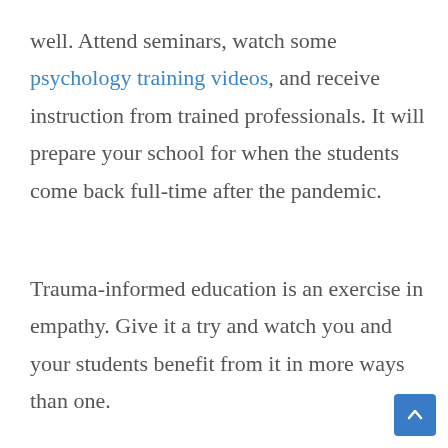well. Attend seminars, watch some psychology training videos, and receive instruction from trained professionals. It will prepare your school for when the students come back full-time after the pandemic.
Trauma-informed education is an exercise in empathy. Give it a try and watch you and your students benefit from it in more ways than one.